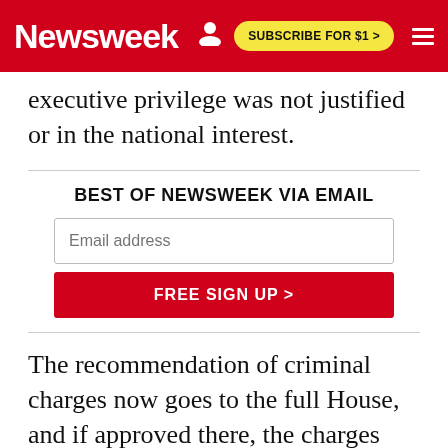Newsweek | SUBSCRIBE FOR $1 >
executive privilege was not justified or in the national interest.
BEST OF NEWSWEEK VIA EMAIL
Email address
FREE SIGN UP >
The recommendation of criminal charges now goes to the full House, and if approved there, the charges would be sent to the Justice Department, which has the final say on